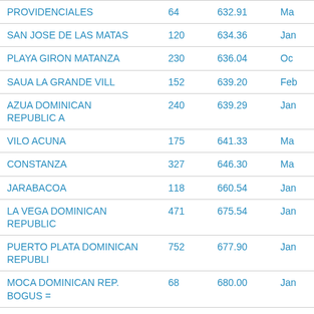| Name | Col2 | Col3 | Col4 |
| --- | --- | --- | --- |
| PROVIDENCIALES | 64 | 632.91 | Ma |
| SAN JOSE DE LAS MATAS | 120 | 634.36 | Jan |
| PLAYA GIRON MATANZA | 230 | 636.04 | Oc |
| SAUA LA GRANDE VILL | 152 | 639.20 | Feb |
| AZUA DOMINICAN REPUBLIC A | 240 | 639.29 | Jan |
| VILO ACUNA | 175 | 641.33 | Ma |
| CONSTANZA | 327 | 646.30 | Ma |
| JARABACOA | 118 | 660.54 | Jan |
| LA VEGA DOMINICAN REPUBLIC | 471 | 675.54 | Jan |
| PUERTO PLATA DOMINICAN REPUBLI | 752 | 677.90 | Jan |
| MOCA DOMINICAN REP. BOGUS = | 68 | 680.00 | Jan |
| SAN FRANCISCO DE MACORIS DOMIN | 233 | 698.23 | Jan |
| GRAND TURK ISLAND | 267 | 704.74 | Feb |